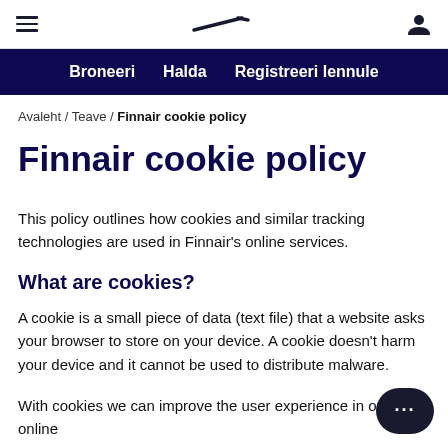[Figure (screenshot): Finnair website navigation bar with hamburger menu, Finnair logo (stylized F), and user account icon]
Broneeri   Halda   Registreeri lennule
Avaleht / Teave / Finnair cookie policy
Finnair cookie policy
This policy outlines how cookies and similar tracking technologies are used in Finnair's online services.
What are cookies?
A cookie is a small piece of data (text file) that a website asks your browser to store on your device. A cookie doesn't harm your device and it cannot be used to distribute malware.
With cookies we can improve the user experience in our online